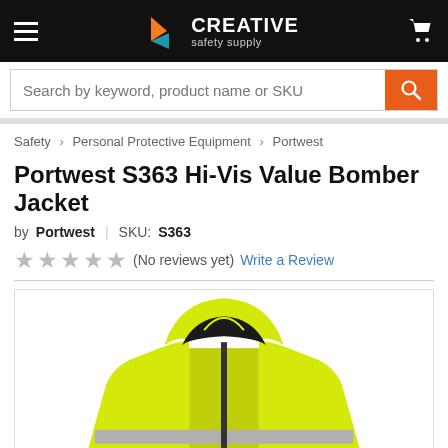[Figure (logo): Creative Safety Supply logo with hamburger menu and cart icon on black header bar]
Search by keyword, product name or SKU
Safety > Personal Protective Equipment > Portwest
Portwest S363 Hi-Vis Value Bomber Jacket
by Portwest | SKU: S363
★★★★★ (No reviews yet)  Write a Review
[Figure (photo): Photo of a yellow hi-vis bomber jacket with hood and reflective stripe, shown from the front/top angle against white background]